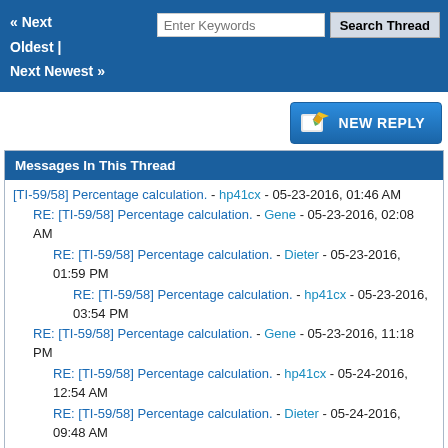« Next Oldest | Next Newest »  [search bar]  Search Thread
[Figure (screenshot): New Reply button with pencil icon]
Messages In This Thread
[TI-59/58] Percentage calculation. - hp41cx - 05-23-2016, 01:46 AM
RE: [TI-59/58] Percentage calculation. - Gene - 05-23-2016, 02:08 AM
RE: [TI-59/58] Percentage calculation. - Dieter - 05-23-2016, 01:59 PM
RE: [TI-59/58] Percentage calculation. - hp41cx - 05-23-2016, 03:54 PM
RE: [TI-59/58] Percentage calculation. - Gene - 05-23-2016, 11:18 PM
RE: [TI-59/58] Percentage calculation. - hp41cx - 05-24-2016, 12:54 AM
RE: [TI-59/58] Percentage calculation. - Dieter - 05-24-2016, 09:48 AM
RE: [TI-59/58] Percentage calculation. - hp41cx - 05-24-2016, 10:20 AM
RE: [TI-59/58] Percentage calculation. - Dieter - 05-24-2016, 12:24 PM
RE: [TI-59/58] Percentage calculation. - HrastProgrammer - 06-01-2016, 07:45 AM